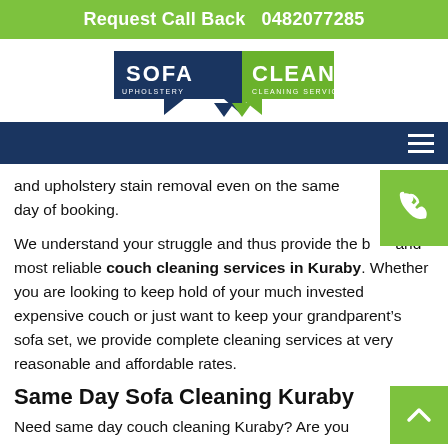Request Call Back   0482077285
[Figure (logo): Sofa Cleaning Upholstery Cleaning Services logo with dark blue banner and green checkmark/arrow shapes]
and upholstery stain removal even on the same day of booking.
We understand your struggle and thus provide the best and most reliable couch cleaning services in Kuraby. Whether you are looking to keep hold of your much invested expensive couch or just want to keep your grandparent’s sofa set, we provide complete cleaning services at very reasonable and affordable rates.
Same Day Sofa Cleaning Kuraby
Need same day couch cleaning Kuraby? Are you looking for a reliable and trustworthy platform where you could just hand-over your expensive and exquisite leather and